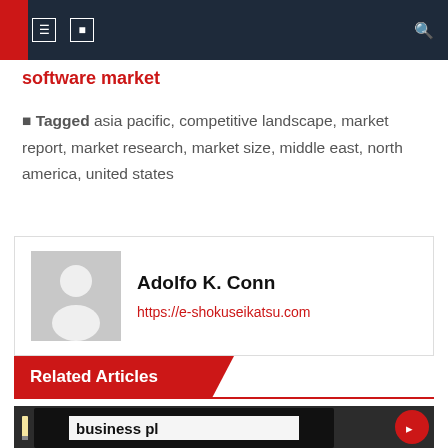software market
Tagged asia pacific, competitive landscape, market report, market research, market size, middle east, north america, united states
Adolfo K. Conn
https://e-shokuseikatsu.com
Related Articles
[Figure (photo): Photo of a business plan binder with charts visible in the background]